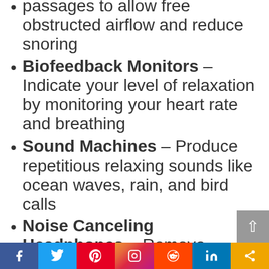passages to allow free obstructed airflow and reduce snoring
Biofeedback Monitors – Indicate your level of relaxation by monitoring your heart rate and breathing
Sound Machines – Produce repetitious relaxing sounds like ocean waves, rain, and bird calls
Noise Canceling Headphones – Remove unwanted room noise while allowing you to listen to relaxing music
Night Light Projectors – Create softly lit and sleep-inducing patterns on the wall or ceiling
Aroma Therapy Machines – Electronically controlled essential oil